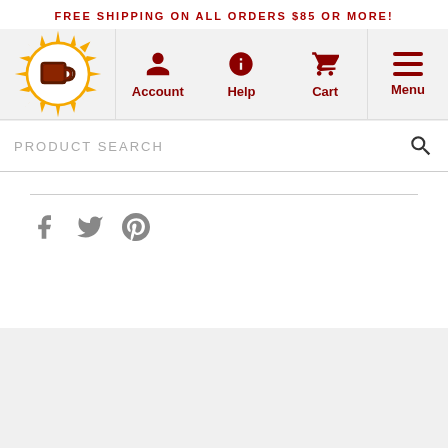FREE SHIPPING ON ALL ORDERS $85 OR MORE!
[Figure (logo): Orange sunburst logo with coffee mug icon in center]
[Figure (infographic): Navigation bar with Account, Help, Cart icons and Menu hamburger button]
[Figure (infographic): Product search bar with magnifying glass icon]
[Figure (infographic): Social media icons: Facebook, Twitter, Pinterest]